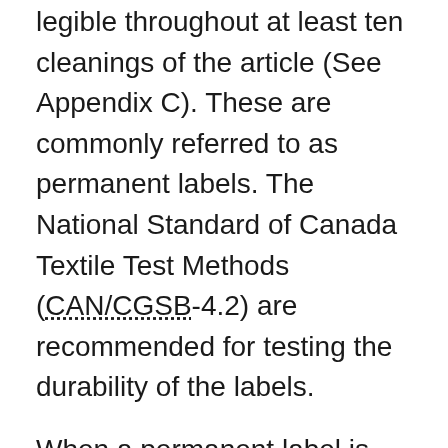legible throughout at least ten cleanings of the article (See Appendix C). These are commonly referred to as permanent labels. The National Standard of Canada Textile Test Methods (CAN/CGSB-4.2) are recommended for testing the durability of the labels.
When a permanent label is attached to an article so as to leave both sides easily accessible, the label may have part of the required information on one side and the remainder on the other. The information may also be placed on two different labels provided that the labels are adjoining or